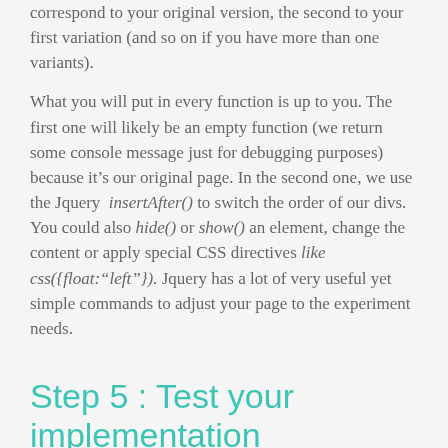correspond to your original version, the second to your first variation (and so on if you have more than one variants).

What you will put in every function is up to you. The first one will likely be an empty function (we return some console message just for debugging purposes) because it's our original page. In the second one, we use the Jquery insertAfter() to switch the order of our divs. You could also hide() or show() an element, change the content or apply special CSS directives like css({float:"left"}). Jquery has a lot of very useful yet simple commands to adjust your page to the experiment needs.
Step 5 : Test your implementation
If you need to run a live testing, we allow you to...